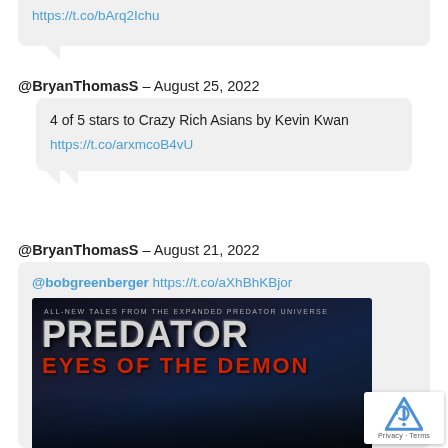https://t.co/bArq2Ichu
@BryanThomasS – August 25, 2022
4 of 5 stars to Crazy Rich Asians by Kevin Kwan
https://t.co/arxmcoB4vU
@BryanThomasS – August 21, 2022
@bobgreenberger https://t.co/aXhBhKBjor
[Figure (photo): Book cover: PREDATOR: EYES OF THE DEMON – All-New Tales from the Expanded Predator Universe]